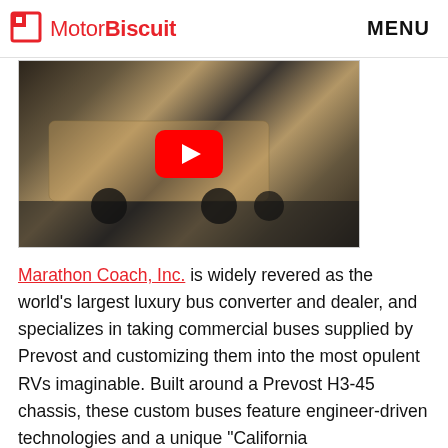MotorBiscuit  MENU
[Figure (screenshot): YouTube video thumbnail showing a luxury custom bus/RV with distinctive metallic paint and custom trailer, with a red YouTube play button overlay]
Marathon Coach, Inc. is widely revered as the world's largest luxury bus converter and dealer, and specializes in taking commercial buses supplied by Prevost and customizing them into the most opulent RVs imaginable. Built around a Prevost H3-45 chassis, these custom buses feature engineer-driven technologies and a unique "California